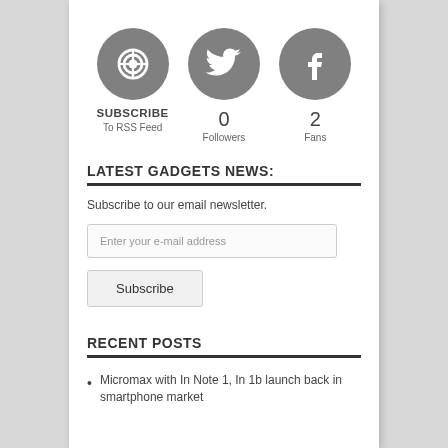[Figure (infographic): Three social media icons in grey circles: RSS feed icon with label SUBSCRIBE / To RSS Feed, Twitter bird icon with 0 Followers, Facebook f icon with 2 Fans]
LATEST GADGETS NEWS:
Subscribe to our email newsletter.
Enter your e-mail address
Subscribe
RECENT POSTS
Micromax with In Note 1, In 1b launch back in smartphone market